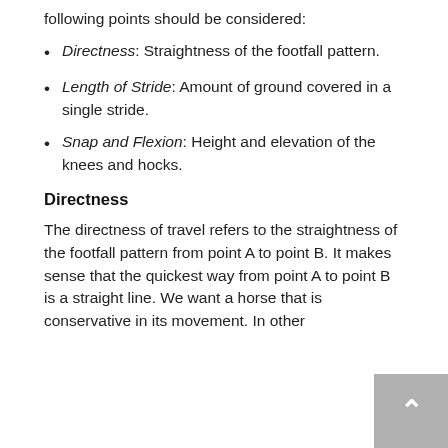following points should be considered:
Directness: Straightness of the footfall pattern.
Length of Stride: Amount of ground covered in a single stride.
Snap and Flexion: Height and elevation of the knees and hocks.
Directness
The directness of travel refers to the straightness of the footfall pattern from point A to point B. It makes sense that the quickest way from point A to point B is a straight line. We want a horse that is conservative in its movement. In other